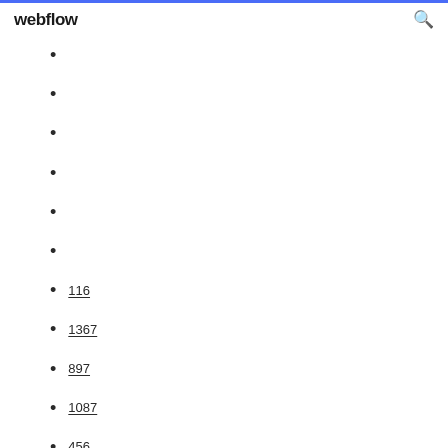webflow
116
1367
897
1087
456
1032